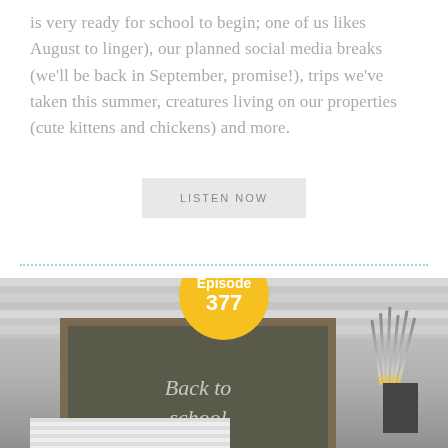is very ready for school to begin; one of us likes August to linger), our planned social media breaks (we'll be back in September, promise!), trips we've taken this summer, creatures living on our properties (cute kittens and chickens) and more.
LISTEN NOW
[Figure (photo): Black and white photo of a chalkboard with 'Back to school' written in chalk, with pencils in a cup holder on the right. A yellow circular badge overlaid reads 'Episode 377'.]